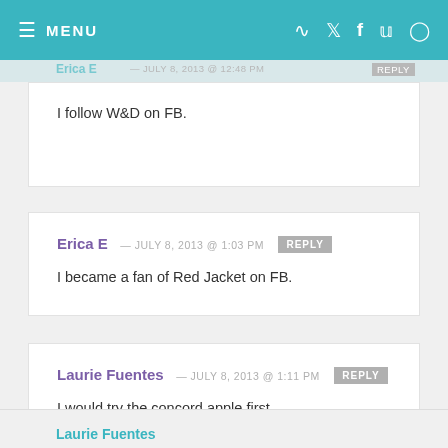MENU
I follow W&D on FB.
Erica E — JULY 8, 2013 @ 1:03 PM REPLY
I became a fan of Red Jacket on FB.
Laurie Fuentes — JULY 8, 2013 @ 1:11 PM REPLY
I would try the concord apple first
Laurie Fuentes